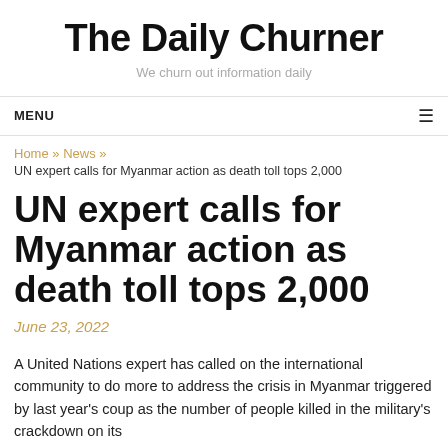The Daily Churner
We churn out information daily
MENU
Home » News »
UN expert calls for Myanmar action as death toll tops 2,000
UN expert calls for Myanmar action as death toll tops 2,000
June 23, 2022
A United Nations expert has called on the international community to do more to address the crisis in Myanmar triggered by last year's coup as the number of people killed in the military's crackdown on its